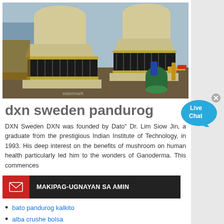[Figure (photo): Industrial cone crusher machinery with cream/beige colored body, coil springs around the base, and auxiliary motors/pipes, photographed outdoors with blue sky in background]
dxn sweden pandurog
DXN Sweden DXN was founded by Dato" Dr. Lim Siow Jin, a graduate from the prestigious Indian Institute of Technology, in 1993. His deep interest on the benefits of mushroom on human health particularly led him to the wonders of Ganoderma. This commences
MAKIPAG-UGNAYAN SA AMIN
bato pandurog kalkito
alba crushe bolsa